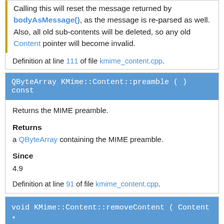Calling this will reset the message returned by bodyAsMessage(), as the message is re-parsed as well. Also, all old sub-contents will be deleted, so any old Content pointer will become invalid.
Definition at line 111 of file kmime_content.cpp.
QByteArray KMime::Content::preamble ( ) const
Returns the MIME preamble.
Returns
a QByteArray containing the MIME preamble.
Since
4.9
Definition at line 91 of file kmime_content.cpp.
void KMime::Content::removeContent ( Content * content,
bool  del = false
)